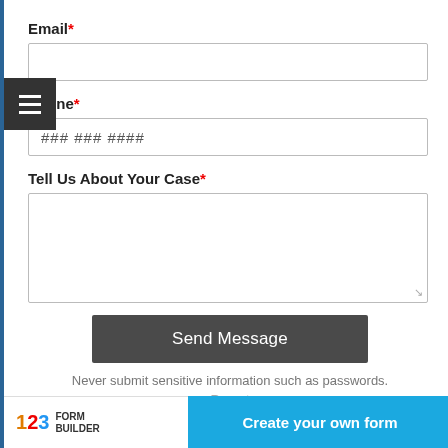Email*
[Figure (screenshot): Email text input field, empty]
Phone*
[Figure (screenshot): Phone text input field with placeholder '### ### ####']
Tell Us About Your Case*
[Figure (screenshot): Multi-line textarea input field, empty, with resize handle]
[Figure (screenshot): Send Message button, dark grey]
Never submit sensitive information such as passwords.
Report
123 FORM BUILDER | Create your own form